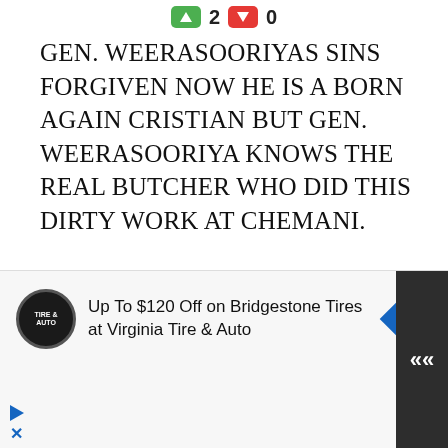[Figure (other): Vote up (green) button showing 2, vote down (red) button showing 0]
GEN. WEERASOORIYAS SINS FORGIVEN NOW HE IS A BORN AGAIN CRISTIAN BUT GEN. WEERASOORIYA KNOWS THE REAL BUTCHER WHO DID THIS DIRTY WORK AT CHEMANI.
[Figure (logo): Green geometric star/snowflake pattern logo]
[Figure (other): Large X close button]
[Figure (other): Advertisement banner: Tire & Auto logo, text 'Up To $120 Off on Bridgestone Tires at Virginia Tire & Auto', blue navigation diamond icon, dark scroll-up button]